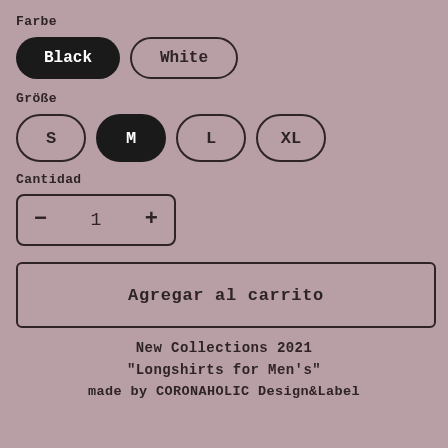Farbe
Black (selected), White
Größe
S, M (selected), L, XL
Cantidad
- 1 +
Agregar al carrito
New Collections 2021
"Longshirts for Men's"
made by CORONAHOLIC Design&Label